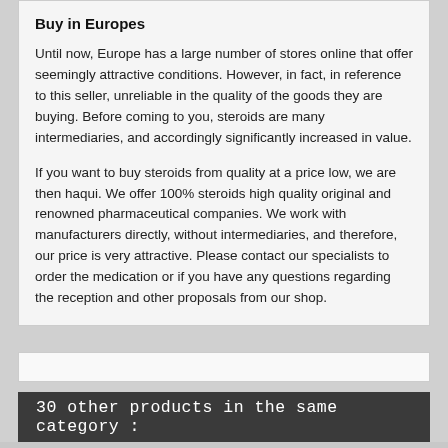Buy in Europes
Until now, Europe has a large number of stores online that offer seemingly attractive conditions. However, in fact, in reference to this seller, unreliable in the quality of the goods they are buying. Before coming to you, steroids are many intermediaries, and accordingly significantly increased in value.
If you want to buy steroids from quality at a price low, we are then haqui. We offer 100% steroids high quality original and renowned pharmaceutical companies. We work with manufacturers directly, without intermediaries, and therefore, our price is very attractive. Please contact our specialists to order the medication or if you have any questions regarding the reception and other proposals from our shop.
30 other products in the same category :
[Figure (logo): Powered by Yotpo logo badge]
[Figure (other): Five empty star rating icons]